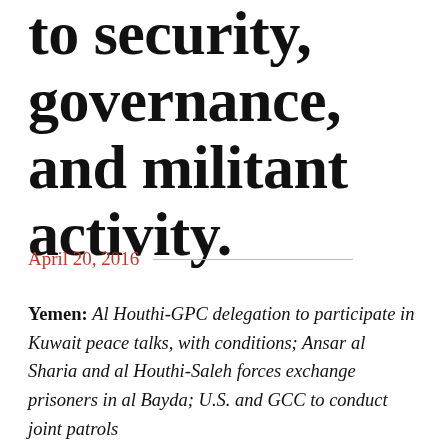to security, governance, and militant activity.
April 20, 2016
Yemen: Al Houthi-GPC delegation to participate in Kuwait peace talks, with conditions; Ansar al Sharia and al Houthi-Saleh forces exchange prisoners in al Bayda; U.S. and GCC to conduct joint patrols